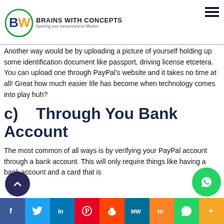BRAINS WITH CONCEPTS — Sparking your entrepreneurial Mindset
Another way would be by uploading a picture of yourself holding up some identification document like passport, driving license etcetera. You can upload one through PayPal's website and it takes no time at all! Great how much easier life has become when technology comes into play huh?
c)    Through You Bank Account
The most common of all ways is by verifying your PayPal account through a bank account. This will only require things like having a bank account and a card that is
f  t  in  P  reddit  MW  M  WhatsApp  +